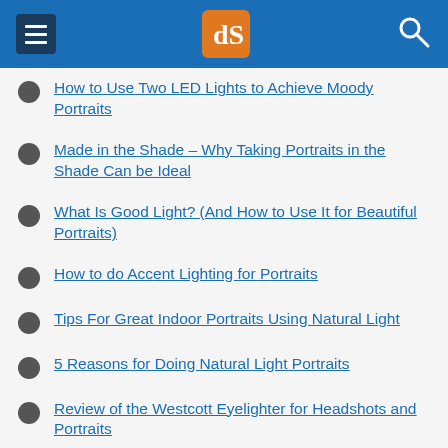dPS
How to Use Two LED Lights to Achieve Moody Portraits
Made in the Shade – Why Taking Portraits in the Shade Can be Ideal
What Is Good Light? (And How to Use It for Beautiful Portraits)
How to do Accent Lighting for Portraits
Tips For Great Indoor Portraits Using Natural Light
5 Reasons for Doing Natural Light Portraits
Review of the Westcott Eyelighter for Headshots and Portraits